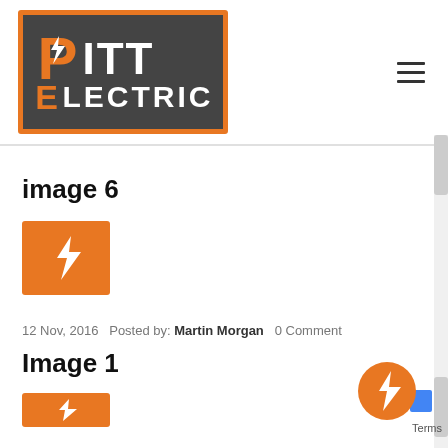[Figure (logo): Pitt Electric company logo: dark metallic background with orange border, orange letter P with lightning bolt, white letters ITT on top row, orange E with white letters LECTRIC on bottom row]
image 6
[Figure (illustration): Orange square thumbnail with white lightning bolt icon]
12 Nov, 2016   Posted by: Martin Morgan   0 Comment
Image 1
[Figure (illustration): Orange square thumbnail with white lightning bolt icon (partially visible)]
Terms